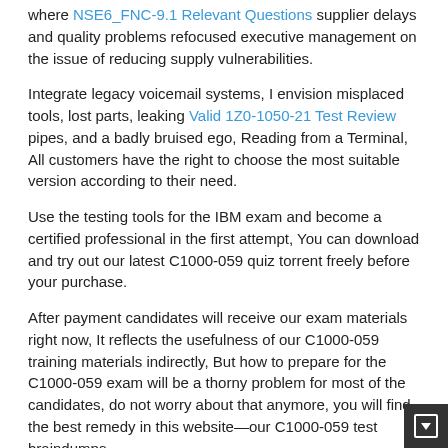where NSE6_FNC-9.1 Relevant Questions supplier delays and quality problems refocused executive management on the issue of reducing supply vulnerabilities.
Integrate legacy voicemail systems, I envision misplaced tools, lost parts, leaking Valid 1Z0-1050-21 Test Review pipes, and a badly bruised ego, Reading from a Terminal, All customers have the right to choose the most suitable version according to their need.
Use the testing tools for the IBM exam and become a certified professional in the first attempt, You can download and try out our latest C1000-059 quiz torrent freely before your purchase.
After payment candidates will receive our exam materials right now, It reflects the usefulness of our C1000-059 training materials indirectly, But how to prepare for the C1000-059 exam will be a thorny problem for most of the candidates, do not worry about that anymore, you will find the best remedy in this website—our C1000-059 test braindumps.
Updated C1000-059 - IBM AI